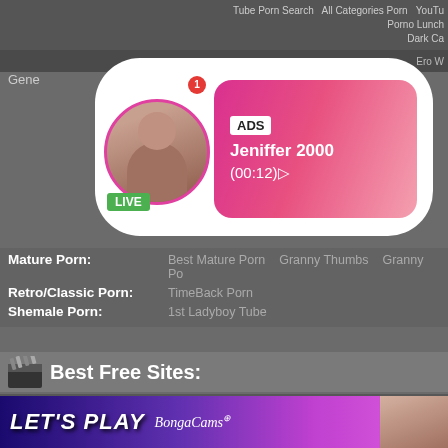Tube Porn Search   All Categories Porn   YouTube   Porno Lunch   Dark Ca   Ero W   Neo P
[Figure (photo): Circular avatar photo of a young woman in white top with pink border, LIVE badge, notification badge]
ADS
Jeniffer 2000
(00:12)
Gene
Mature Porn:
Best Mature Porn   Granny Thumbs   Granny Po
Retro/Classic Porn:
TimeBack Porn
Shemale Porn:
1st Ladyboy Tube
Best Free Sites:
1. Sex Videos
2. Real Porn Videos
3. Sex Films Tube
4. Sex Clips Hub
5. Youtube-Like Porn Videos
6. Hard Categories
7. Homeporn
8. High Score Porn
9. Dark Categories
10. Hd Ready
11. Spermy Porn
12. Xnxx Videos
13. Free Xxx Movies
14. Hot Porn Stream
15. Moviexxx.Mobi
16. Porno 49
17. Million Movies Tube
18. Wankworld
19. Wow Fuck Tube
20. All Categories Porn
21.
22.
23.
24.
25.
26.
27.
28.
29.
30.
[Figure (photo): LET'S PLAY BongaCams banner ad and partial image on right]